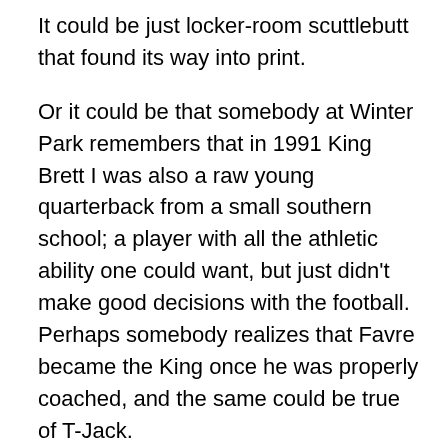It could be just locker-room scuttlebutt that found its way into print.
Or it could be that somebody at Winter Park remembers that in 1991 King Brett I was also a raw young quarterback from a small southern school; a player with all the athletic ability one could want, but just didn't make good decisions with the football. Perhaps somebody realizes that Favre became the King once he was properly coached, and the same could be true of T-Jack.
Or it could be that King Brett I blew off training camp, and arrived in town on the team owner's private jet, and was chauffered to practice by the fucking head coach after doing nothing to prove his worth to the team. Gee, it's hard to see why any other players who sweated their asses off in training camp might harbor a bit of resentment. Even if